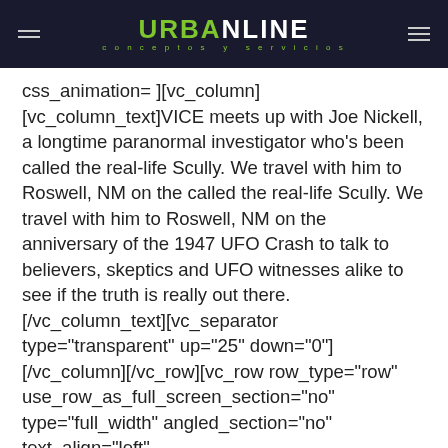URBANLINE conceptos y servicios
css_animation= ][vc_column][vc_column_text]VICE meets up with Joe Nickell, a longtime paranormal investigator who's been called the real-life Scully. We travel with him to Roswell, NM on the called the real-life Scully. We travel with him to Roswell, NM on the anniversary of the 1947 UFO Crash to talk to believers, skeptics and UFO witnesses alike to see if the truth is really out there.[/vc_column_text][vc_separator type="transparent" up="25" down="0"][/vc_column][/vc_row][vc_row row_type="row" use_row_as_full_screen_section="no" type="full_width" angled_section="no" text_align="left" background_image_as_pattern="without_pattern" css_animation=""][vc_column][vc_column_text]VICE meets up with Joe Nickell, a longtime paranormal investigator who's been called the real-life Scully. We travel with him to Roswell, NM on the anniversary of the